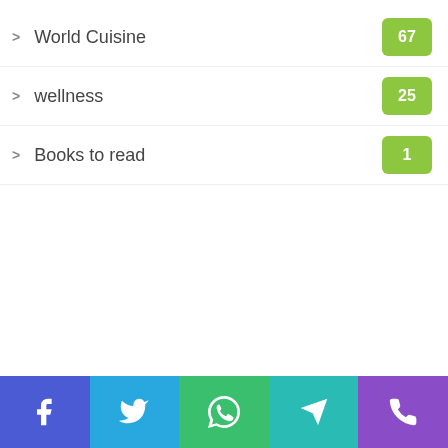World Cuisine 67
wellness 25
Books to read 1
Facebook, Twitter, WhatsApp, Telegram, Phone social share buttons